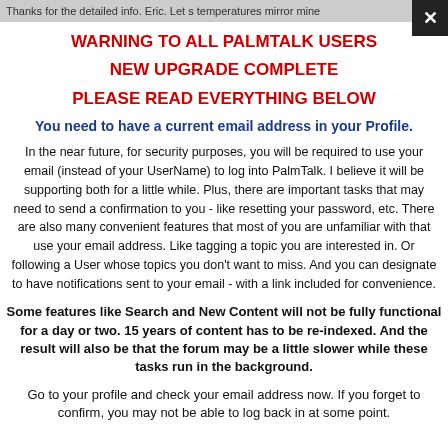Thanks for the detailed info. Eric. Let s temperatures mirror mine
WARNING TO ALL PALMTALK USERS
NEW UPGRADE COMPLETE
PLEASE READ EVERYTHING BELOW
You need to have a current email address in your Profile.
In the near future, for security purposes, you will be required to use your email (instead of your UserName) to log into PalmTalk. I believe it will be supporting both for a little while. Plus, there are important tasks that may need to send a confirmation to you - like resetting your password, etc. There are also many convenient features that most of you are unfamiliar with that use your email address. Like tagging a topic you are interested in. Or following a User whose topics you don't want to miss. And you can designate to have notifications sent to your email - with a link included for convenience.
Some features like Search and New Content will not be fully functional for a day or two. 15 years of content has to be re-indexed. And the result will also be that the forum may be a little slower while these tasks run in the background.
Go to your profile and check your email address now. If you forget to confirm, you may not be able to log back in at some point.